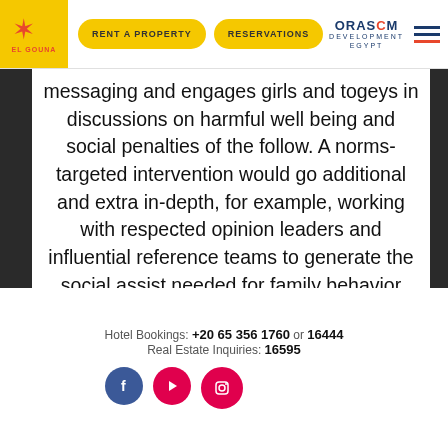El Gouna | RENT A PROPERTY | RESERVATIONS | ORASCOM DEVELOPMENT EGYPT
messaging and engages girls and togeys in discussions on harmful well being and social penalties of the follow. A norms-targeted intervention would go additional and extra in-depth, for example, working with respected opinion leaders and influential reference teams to generate the social assist needed for family behavior change. A norms-targeted intervention would increase girl child and family outcomes via synergies created by group-stage normative shifts. Programmers ought to expect some stage
Hotel Bookings: +20 65 356 1760 or 16444 | Real Estate Inquiries: 16595